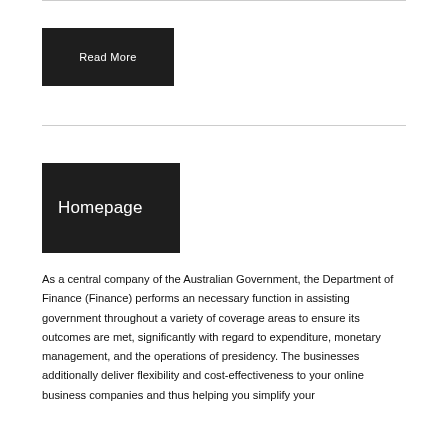Read More
Homepage
As a central company of the Australian Government, the Department of Finance (Finance) performs an necessary function in assisting government throughout a variety of coverage areas to ensure its outcomes are met, significantly with regard to expenditure, monetary management, and the operations of presidency. The businesses additionally deliver flexibility and cost-effectiveness to your online business companies and thus helping you simplify your